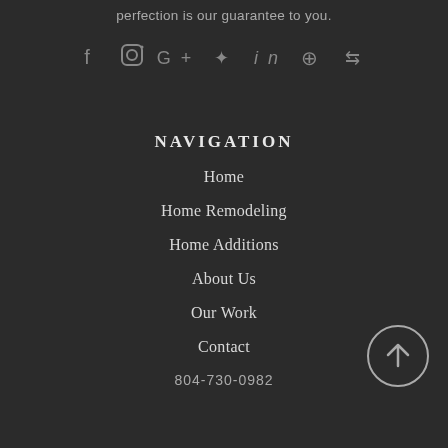perfection is our guarantee to you.
[Figure (infographic): Social media icons: Facebook, Instagram, Google+, Twitter, LinkedIn, Pinterest, Houzz]
NAVIGATION
Home
Home Remodeling
Home Additions
About Us
Our Work
Contact
804-730-0982